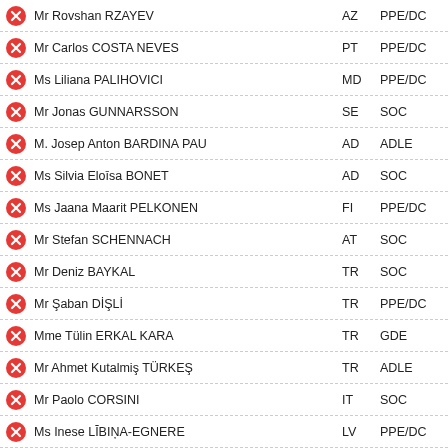Mr Rovshan RZAYEV | AZ | PPE/DC
Mr Carlos COSTA NEVES | PT | PPE/DC
Ms Liliana PALIHOVICI | MD | PPE/DC
Mr Jonas GUNNARSSON | SE | SOC
M. Josep Anton BARDINA PAU | AD | ADLE
Ms Silvia Eloīsa BONET | AD | SOC
Ms Jaana Maarit PELKONEN | FI | PPE/DC
Mr Stefan SCHENNACH | AT | SOC
Mr Deniz BAYKAL | TR | SOC
Mr Şaban DİŞLİ | TR | PPE/DC
Mme Tülin ERKAL KARA | TR | GDE
Mr Ahmet Kutalmiş TÜRKEŞ | TR | ADLE
Mr Paolo CORSINI | IT | SOC
Ms Inese LĪBIŅA-EGNERE | LV | PPE/DC
Mme Elisabeth SCHNEIDER-SCHNEITER | CH | PPE/DC
M. Urs SCHWALLER | CH | PPE/DC
Mr Grzegorz CZELEJ | PL | NI